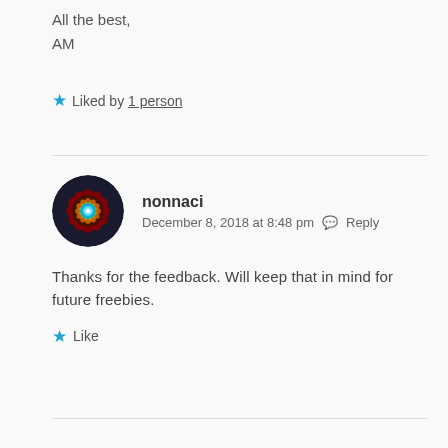All the best,
AM
Liked by 1 person
nonnaci
December 8, 2018 at 8:48 pm  Reply
Thanks for the feedback. Will keep that in mind for future freebies.
Like